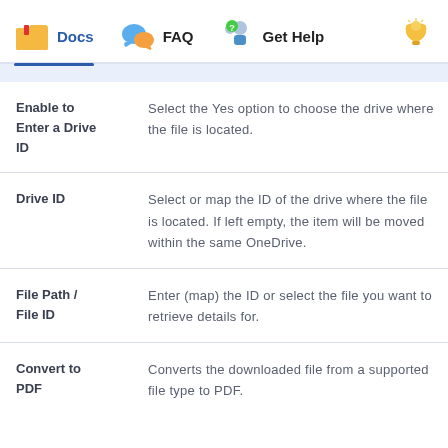Docs  FAQ  Get Help
| Field | Description |
| --- | --- |
| Enable to Enter a Drive ID | Select the Yes option to choose the drive where the file is located. |
| Drive ID | Select or map the ID of the drive where the file is located. If left empty, the item will be moved within the same OneDrive. |
| File Path / File ID | Enter (map) the ID or select the file you want to retrieve details for. |
| Convert to PDF | Converts the downloaded file from a supported file type to PDF. |